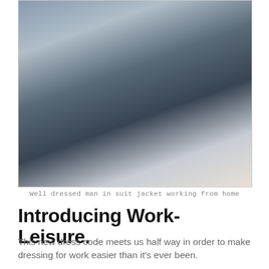[Figure (photo): A well dressed man in a suit jacket sitting at a desk working from home, typing on a keyboard near a window]
Well dressed man in suit jacket working from home
Introducing Work-Leisure.
This new dress code meets us half way in order to make dressing for work easier than it's ever been.
Comfortable yet smart, today's modern workwear pieces are the striking a balance that we perhaps ALWAYS needed. So if you're returning to in-person settings, customer facing roles or even staying